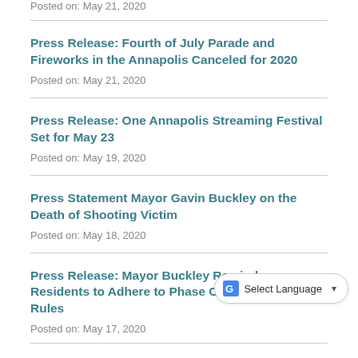Posted on: May 21, 2020
Press Release: Fourth of July Parade and Fireworks in the Annapolis Canceled for 2020
Posted on: May 21, 2020
Press Release: One Annapolis Streaming Festival Set for May 23
Posted on: May 19, 2020
Press Statement Mayor Gavin Buckley on the Death of Shooting Victim
Posted on: May 18, 2020
Press Release: Mayor Buckley Reminds Residents to Adhere to Phase One Reopening Rules
Posted on: May 17, 2020
Memorial Day in Annapolis: City Offices